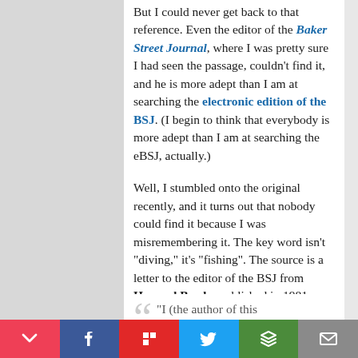But I could never get back to that reference. Even the editor of the Baker Street Journal, where I was pretty sure I had seen the passage, couldn't find it, and he is more adept than I am at searching the electronic edition of the BSJ. (I begin to think that everybody is more adept than I am at searching the eBSJ, actually.)
Well, I stumbled onto the original recently, and it turns out that nobody could find it because I was misremembering it. The key word isn't "diving," it's "fishing". The source is a letter to the editor of the BSJ from Howard Brody, published in 1981, who describes what he calls "the Egotistical methodology" of Sherlockian scholarship:
"I (the author of this
Pocket | Facebook | Flipboard | Twitter | Buffer | Email